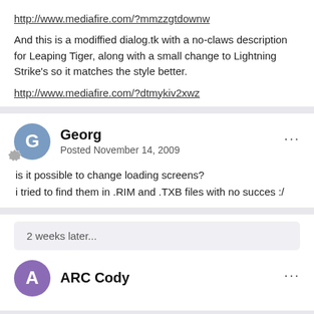http://www.mediafire.com/?mmzzgtdownw
And this is a modiffied dialog.tk with a no-claws description for Leaping Tiger, along with a small change to Lightning Strike's so it matches the style better.
http://www.mediafire.com/?dtmykiv2xwz
Georg
Posted November 14, 2009
is it possible to change loading screens?
i tried to find them in .RIM and .TXB files with no succes :/
2 weeks later...
ARC Cody